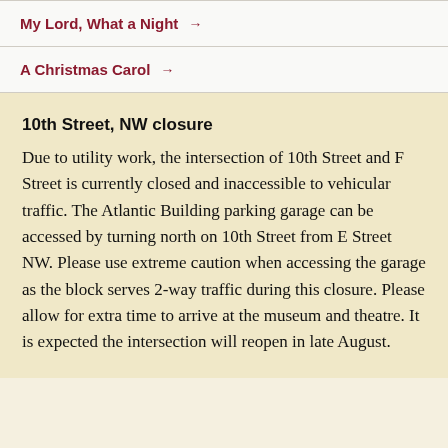My Lord, What a Night →
A Christmas Carol →
10th Street, NW closure
Due to utility work, the intersection of 10th Street and F Street is currently closed and inaccessible to vehicular traffic. The Atlantic Building parking garage can be accessed by turning north on 10th Street from E Street NW. Please use extreme caution when accessing the garage as the block serves 2-way traffic during this closure. Please allow for extra time to arrive at the museum and theatre. It is expected the intersection will reopen in late August.